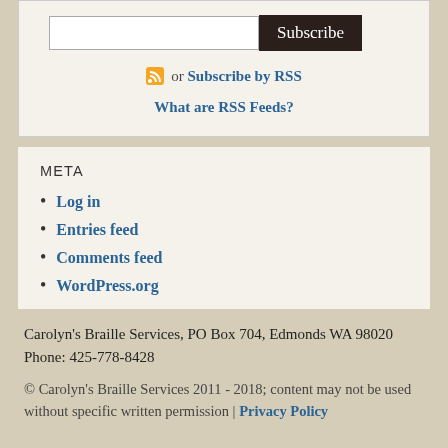[Figure (screenshot): Email subscription input field with 'Subscribe' button, RSS feed icon with 'or Subscribe by RSS' link, and 'What are RSS Feeds?' link]
META
Log in
Entries feed
Comments feed
WordPress.org
Carolyn's Braille Services, PO Box 704, Edmonds WA 98020 Phone: 425-778-8428
© Carolyn's Braille Services 2011 - 2018; content may not be used without specific written permission | Privacy Policy